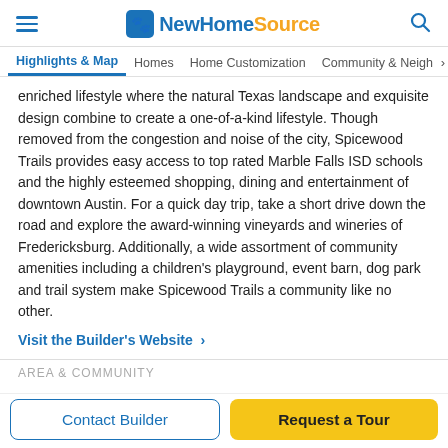NewHomeSource
Highlights & Map  Homes  Home Customization  Community & Neigh›
enriched lifestyle where the natural Texas landscape and exquisite design combine to create a one-of-a-kind lifestyle. Though removed from the congestion and noise of the city, Spicewood Trails provides easy access to top rated Marble Falls ISD schools and the highly esteemed shopping, dining and entertainment of downtown Austin. For a quick day trip, take a short drive down the road and explore the award-winning vineyards and wineries of Fredericksburg. Additionally, a wide assortment of community amenities including a children's playground, event barn, dog park and trail system make Spicewood Trails a community like no other.
Visit the Builder's Website ›
AREA & COMMUNITY
Contact Builder
Request a Tour